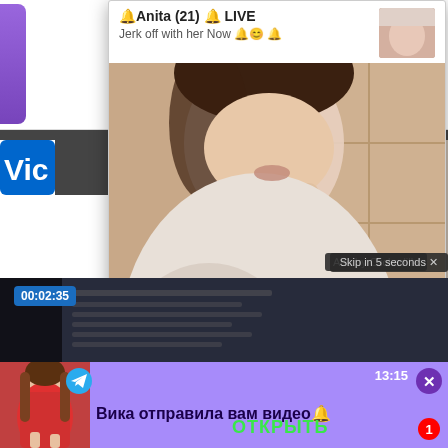[Figure (screenshot): Ad popup overlay showing adult content advertisement with thumbnail image, title text, and embedded photo. Background shows partial website with video player.]
🔔Anita (21) 🔔 LIVE
Jerk off with her Now 🔔😊 🔔
ccp
FINAL
Pro!
miere
Ads by Clickadilla
Skip in 5 seconds ✕
00:02:35
Вика отправила вам видео🔔
ОТКРЫТЬ
13:15
1